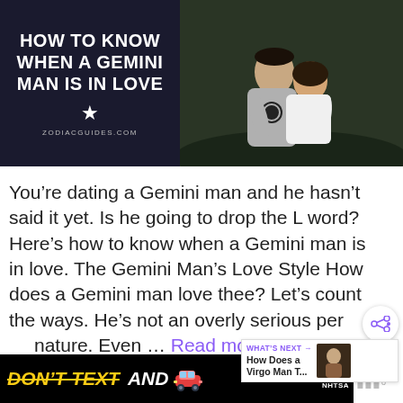[Figure (photo): Hero image split: left side dark blue background with white bold text 'HOW TO KNOW WHEN A GEMINI MAN IS IN LOVE', a star icon and 'ZODIACGUIDES.COM'; right side photo of a couple embracing outdoors]
You’re dating a Gemini man and he hasn’t said it yet. Is he going to drop the L word? Here’s how to know when a Gemini man is in love. The Gemini Man’s Love Style How does a Gemini man love thee? Let’s count the ways. He’s not an overly serious person by nature. Even … Read more
[Figure (other): WHAT'S NEXT arrow label in purple with thumbnail and text 'How Does a Virgo Man T...']
[Figure (other): Advertisement banner: DON'T TEXT AND [car emoji] with ad badge and NHTSA logo on black background]